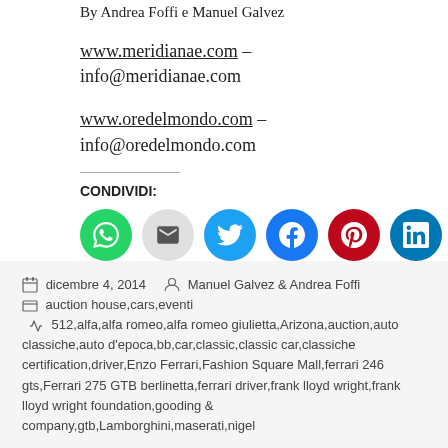By Andrea Foffi e Manuel Galvez
www.meridianae.com – info@meridianae.com
www.oredelmondo.com – info@oredelmondo.com
CONDIVIDI:
[Figure (other): Social share buttons: WhatsApp (green), Email (grey), Twitter (blue), Facebook (blue), Pinterest (red), LinkedIn (blue), Tumblr (dark navy)]
Caricamento…
dicembre 4, 2014  Manuel Galvez & Andrea Foffi  auction house,cars,eventi  512,alfa,alfa romeo,alfa romeo giulietta,Arizona,auction,auto classiche,auto d'epoca,bb,car,classic,classic car,classiche certification,driver,Enzo Ferrari,Fashion Square Mall,ferrari 246 gts,Ferrari 275 GTB berlinetta,ferrari driver,frank lloyd wright,frank lloyd wright foundation,gooding & company,gtb,Lamborghini,maserati,nigel